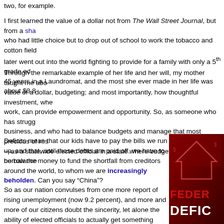two, for example.
I first learned the value of a dollar not from The Wall Street Journal, but from a sha[recropper] who had little choice but to drop out of school to work the tobacco and cotton field[s, and] later went out into the world fighting to provide for a family with only a 5th grade ed[ucation,] 45 years in a Laundromat, and the most she ever made in her life was about $3.8[0 an hour].
Through the remarkable example of her life and her will, my mother taught me abo[ut the] value of a dollar, budgeting; and most importantly, how thoughtful investment, whe[n it can] work, can provide empowerment and opportunity. So, as someone who has strugg[led in] business, and who had to balance budgets and manage that most precious of res[ources] —as a statewide elected official in a state where budgets must, by law, be balance[d...]
Deficits mean that our kids have to pay the bills we run up, and that, until those debts are paid off, we have to borrow the money to fund the shortfall from creditors around the world, to whom we are increasingly beholden. Can you say “China”?
So as our nation convulses from one more report of rising unemployment (now 9.2 percent), and more and more of our citizens doubt the sincerity, let alone the ability of elected officials to actually get something done, what must the White House, the GOP led Congress and Democrats in the Senate do to show they got it and are serious about
[Figure (photo): Red graphic image with large bold text reading 'FEDERAL DEFICIT' with a house/arrow graphic overlay, depicting the federal deficit issue]